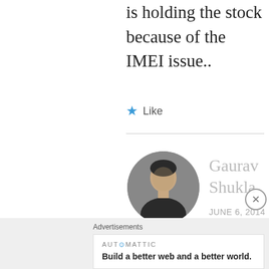is holding the stock because of the IMEI issue..
★ Like
[Figure (photo): Round avatar photo of Gaurav Shukla, a man wearing a dark shirt]
Gaurav Shukla
JUNE 6, 2014 AT 9:47 AM
Update:
https://androidos.in/2014/06/
Advertisements
AUTOMATTIC
Build a better web and a better world.